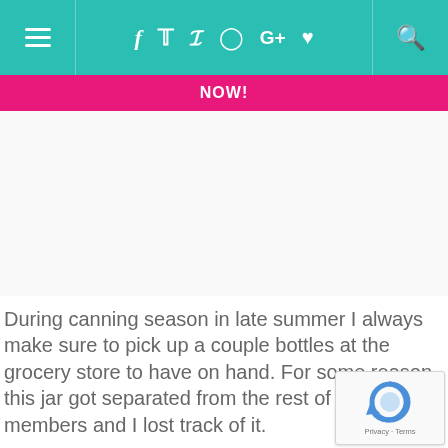NOW!
[Figure (other): White/light gray advertisement placeholder space]
During canning season in late summer I always make sure to pick up a couple bottles at the grocery store to have on hand. For some reason, this jar got separated from the rest of its family members and I lost track of it.